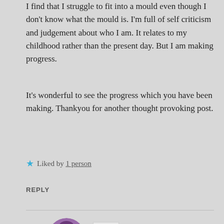I find that I struggle to fit into a mould even though I don't know what the mould is. I'm full of self criticism and judgement about who I am. It relates to my childhood rather than the present day. But I am making progress.
It's wonderful to see the progress which you have been making. Thankyou for another thought provoking post.
Liked by 1 person
REPLY
Em
JULY 11, 2019 AT 6:23 AM
You're welcome. I'm in awe of the intuitive eating